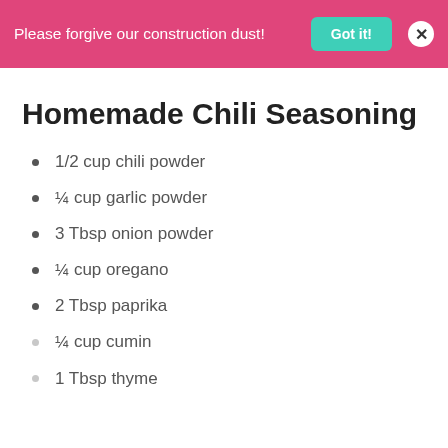Please forgive our construction dust! Got it! X
Homemade Chili Seasoning
1/2 cup chili powder
¼ cup garlic powder
3 Tbsp onion powder
¼ cup oregano
2 Tbsp paprika
¼ cup cumin
1 Tbsp thyme